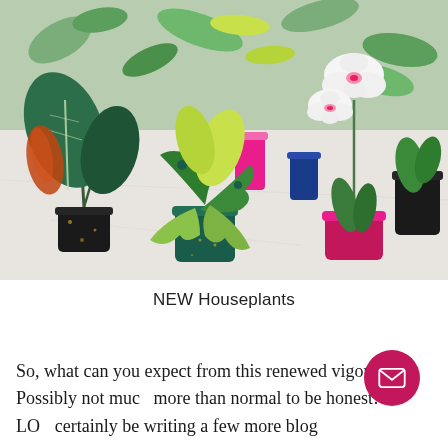[Figure (photo): Photo of several miniature paper craft houseplants in decorative pots arranged on a white marble surface, with tropical leaf wallpaper in the background. Plants include paper monstera, orchid, and other tropical varieties in black, teal, blue, and pink pots.]
NEW Houseplants
So, what can you expect from this renewed vigour? Possibly not much more than normal to be honest! LO certainly be writing a few more blog